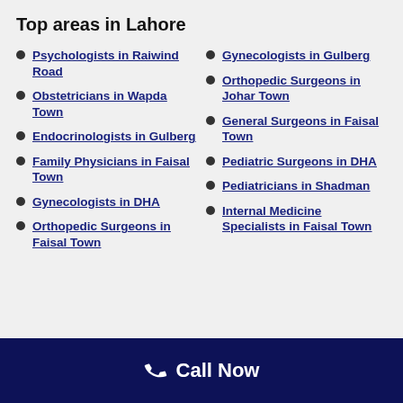Top areas in Lahore
Psychologists in Raiwind Road
Gynecologists in Gulberg
Obstetricians in Wapda Town
Orthopedic Surgeons in Johar Town
Endocrinologists in Gulberg
General Surgeons in Faisal Town
Family Physicians in Faisal Town
Pediatric Surgeons in DHA
Gynecologists in DHA
Pediatricians in Shadman
Orthopedic Surgeons in Faisal Town
Internal Medicine Specialists in Faisal Town